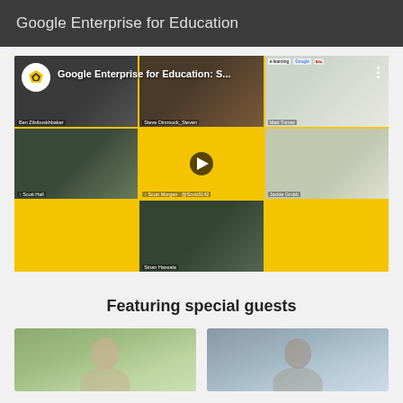Google Enterprise for Education
[Figure (screenshot): Video thumbnail for 'Google Enterprise for Education: S...' showing a grid of 7 video call participants on a yellow/gold background with a play button in the center. Participants include Ben Zildenbuskhbaker, Steve Dimmock_Steven, Matt Turner, Scott Hall, Scott Morgan @Scott3142, Jackie Grubb, and Sinan Hassala. Channel logo (geometric fox/wolf head) shown top-left with channel name.]
Featuring special guests
[Figure (photo): Partial photo of a person (left guest photo, cropped, showing top of head area, green/nature background)]
[Figure (photo): Partial photo of a person (right guest photo, cropped, showing top of head area, blue/grey background)]